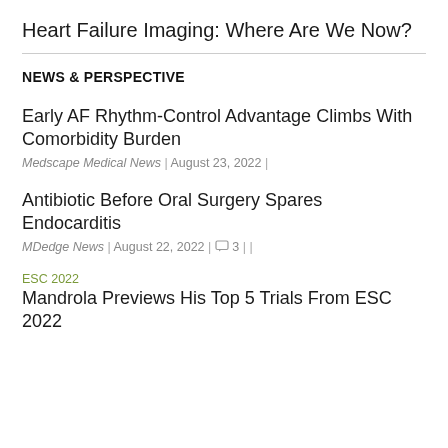Heart Failure Imaging: Where Are We Now?
NEWS & PERSPECTIVE
Early AF Rhythm-Control Advantage Climbs With Comorbidity Burden
Medscape Medical News | August 23, 2022 |
Antibiotic Before Oral Surgery Spares Endocarditis
MDedge News | August 22, 2022 | 3 | |
ESC 2022
Mandrola Previews His Top 5 Trials From ESC 2022